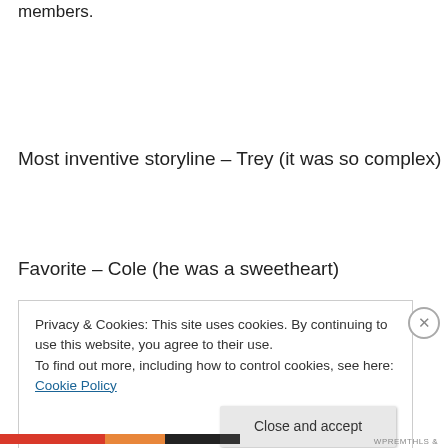members.
Most inventive storyline – Trey (it was so complex)
Favorite – Cole (he was a sweetheart)
Privacy & Cookies: This site uses cookies. By continuing to use this website, you agree to their use.
To find out more, including how to control cookies, see here: Cookie Policy
Close and accept